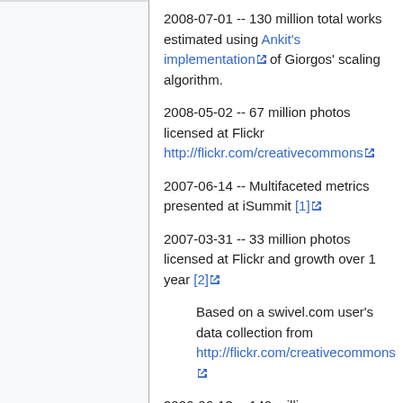2008-07-01 -- 130 million total works estimated using Ankit's implementation of Giorgos' scaling algorithm.
2008-05-02 -- 67 million photos licensed at Flickr http://flickr.com/creativecommons
2007-06-14 -- Multifaceted metrics presented at iSummit [1]
2007-03-31 -- 33 million photos licensed at Flickr and growth over 1 year [2]
Based on a swivel.com user's data collection from http://flickr.com/creativecommons
2006-06-13 -- 140 million pages licensed [3]
Based on Google queries.
2005-12 -- 45 million pages licensed